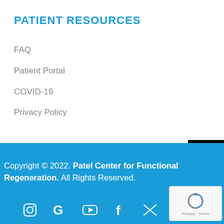PATIENT RESOURCES
FAQ
Patient Portal
COVID-19
Privacy Policy
[Figure (illustration): Accessibility icon button - black background with white person/accessibility symbol]
Copyright © 2022. Patel Center for Functional Regeneration. All Rights Reserved.
[Figure (illustration): Row of social media icons: Instagram, Google, YouTube, Facebook, Twitter/X, LinkedIn in white on blue background]
[Figure (logo): Google reCAPTCHA badge with recycling arrow logo and Privacy - Terms text]